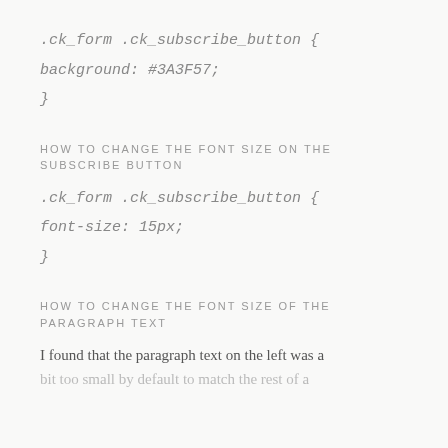.ck_form .ck_subscribe_button {
background: #3A3F57;
}
HOW TO CHANGE THE FONT SIZE ON THE SUBSCRIBE BUTTON
.ck_form .ck_subscribe_button {
font-size: 15px;
}
HOW TO CHANGE THE FONT SIZE OF THE PARAGRAPH TEXT
I found that the paragraph text on the left was a bit too small by default to match the rest of a